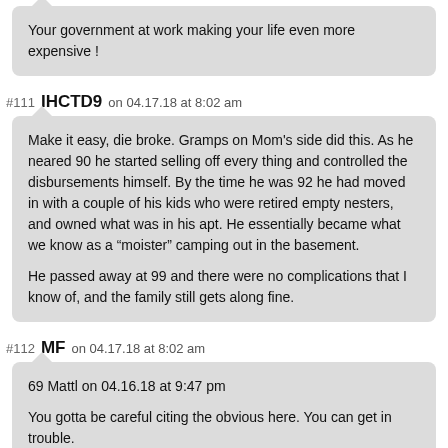Your government at work making your life even more expensive !
#111 IHCTD9 on 04.17.18 at 8:02 am
Make it easy, die broke. Gramps on Mom's side did this. As he neared 90 he started selling off every thing and controlled the disbursements himself. By the time he was 92 he had moved in with a couple of his kids who were retired empty nesters, and owned what was in his apt. He essentially became what we know as a “moister” camping out in the basement.

He passed away at 99 and there were no complications that I know of, and the family still gets along fine.
#112 MF on 04.17.18 at 8:02 am
69 Mattl on 04.16.18 at 9:47 pm

You gotta be careful citing the obvious here. You can get in trouble.

Some implicit Rules of the blog: